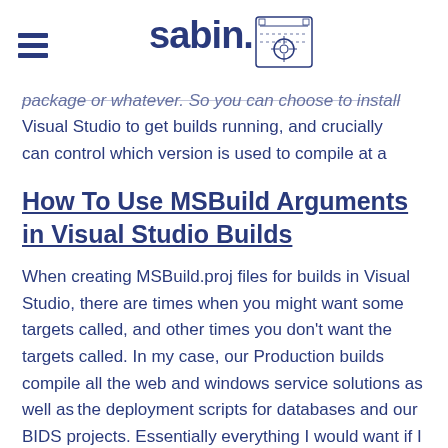sabin.io
package or whatever. So you can choose to install Visual Studio to get builds running, and crucially can control which version is used to compile at a
How To Use MSBuild Arguments in Visual Studio Builds
When creating MSBuild.proj files for builds in Visual Studio, there are times when you might want some targets called, and other times you don't want the targets called. In my case, our Production builds compile all the web and windows service solutions as well asthe deployment scripts for databases and our BIDS projects. Essentially everything I would want if I